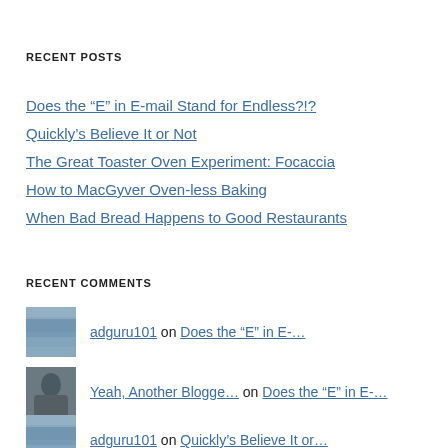RECENT POSTS
Does the “E” in E-mail Stand for Endless?!?
Quickly’s Believe It or Not
The Great Toaster Oven Experiment: Focaccia
How to MacGyver Oven-less Baking
When Bad Bread Happens to Good Restaurants
RECENT COMMENTS
adguru101 on Does the “E” in E-…
Yeah, Another Blogge… on Does the “E” in E-…
adguru101 on Quickly’s Believe It or…